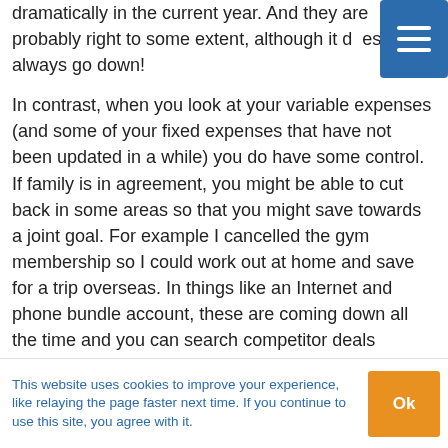dramatically in the current year. And they are probably right to some extent, although it doesn't always go down!
In contrast, when you look at your variable expenses (and some of your fixed expenses that have not been updated in a while) you do have some control. If family is in agreement, you might be able to cut back in some areas so that you might save towards a joint goal. For example I cancelled the gym membership so I could work out at home and save for a trip overseas. In things like an Internet and phone bundle account, these are coming down all the time and you can search competitor deals
This website uses cookies to improve your experience, like relaying the page faster next time. If you continue to use this site, you agree with it.